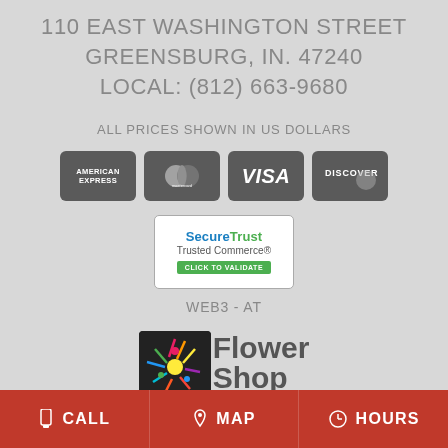110 EAST WASHINGTON STREET
GREENSBURG, IN. 47240
LOCAL: (812) 663-9680
ALL PRICES SHOWN IN US DOLLARS
[Figure (logo): Payment method icons: American Express, Mastercard, Visa, Discover]
[Figure (logo): SecureTrust Trusted Commerce CLICK TO VALIDATE badge]
WEB3 - AT
[Figure (logo): Flower Shop Network logo with colorful icon and text]
CALL   MAP   HOURS